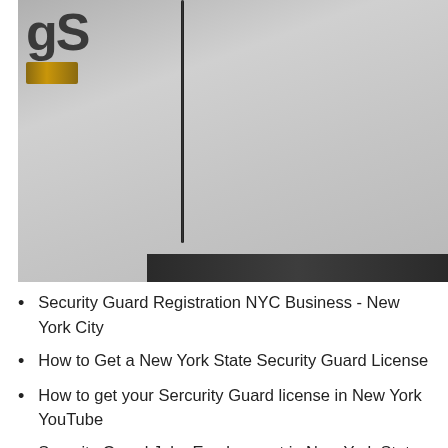[Figure (photo): Close-up photo of a vehicle exterior showing partial lettering 'gS' and a gold/brown badge emblem on the upper left, a vertical dark door seam line, and a dark trim bar at the bottom. The vehicle surface is light gray/silver.]
Security Guard Registration NYC Business - New York City
How to Get a New York State Security Guard License
How to get your Sercurity Guard license in New York YouTube
Security Guard Jobs Employment in New York State Indeed
I authorize the NYS Department of State and the NYS Department o